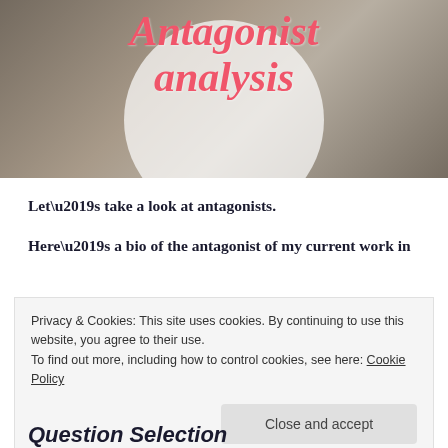[Figure (photo): Hero image of a desk scene with a round table, plate with food, laptop, and colorful items. Overlaid with a semi-transparent white circle and cursive pink text reading 'Antagonist analysis'.]
Antagonist analysis
Let’s take a look at antagonists.
Here’s a bio of the antagonist of my current work in
Privacy & Cookies: This site uses cookies. By continuing to use this website, you agree to their use.
To find out more, including how to control cookies, see here: Cookie Policy
Close and accept